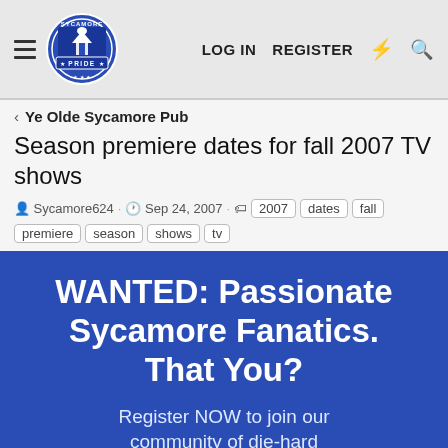LOG IN   REGISTER
< Ye Olde Sycamore Pub
Season premiere dates for fall 2007 TV shows
Sycamore624 · Sep 24, 2007 · 2007  dates  fall  premiere  season  shows  tv
[Figure (infographic): Blue promotional banner with white bold text: WANTED: Passionate Sycamore Fanatics. That You? Register NOW to join our community of die-hard Sycamore fans.]